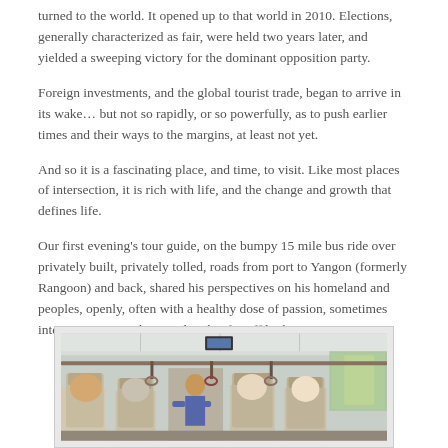turned to the world. It opened up to that world in 2010. Elections, generally characterized as fair, were held two years later, and yielded a sweeping victory for the dominant opposition party.
Foreign investments, and the global tourist trade, began to arrive in its wake… but not so rapidly, or so powerfully, as to push earlier times and their ways to the margins, at least not yet.
And so it is a fascinating place, and time, to visit. Like most places of intersection, it is rich with life, and the change and growth that defines life.
Our first evening's tour guide, on the bumpy 15 mile bus ride over privately built, privately tolled, roads from port to Yangon (formerly Rangoon) and back, shared his perspectives on his homeland and peoples, openly, often with a healthy dose of passion, sometimes intense, sometime leavened with a far-off look…
[Figure (photo): Interior view of a bus, showing passengers seated with a tour guide or speaker standing in the aisle, taken from the back of the bus looking forward.]